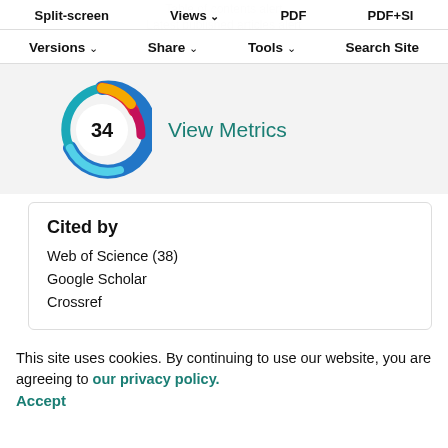Table of contents alert  Latest published articles alert
Split-screen  Views  PDF  PDF+SI
Versions  Share  Tools  Search Site
[Figure (infographic): Circular colorful metrics badge showing number 34, with View Metrics link]
Cited by
Web of Science (38)
Google Scholar
Crossref
This site uses cookies. By continuing to use our website, you are agreeing to our privacy policy. Accept